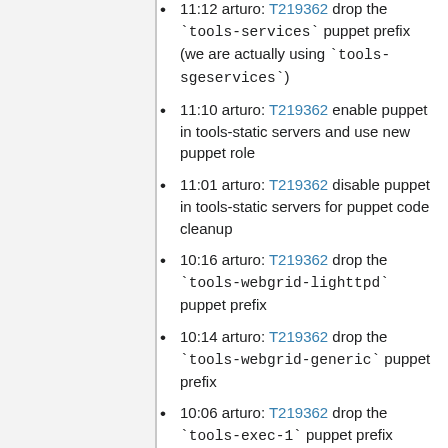11:12 arturo: T219362 drop the `tools-services` puppet prefix (we are actually using `tools-sgeservices`)
11:10 arturo: T219362 enable puppet in tools-static servers and use new puppet role
11:01 arturo: T219362 disable puppet in tools-static servers for puppet code cleanup
10:16 arturo: T219362 drop the `tools-webgrid-lighttpd` puppet prefix
10:14 arturo: T219362 drop the `tools-webgrid-generic` puppet prefix
10:06 arturo: T219362 drop the `tools-exec-1` puppet prefix
2019-05-06
11:34 arturo: T221225 reenable puppet
10:53 arturo: T221225 disable